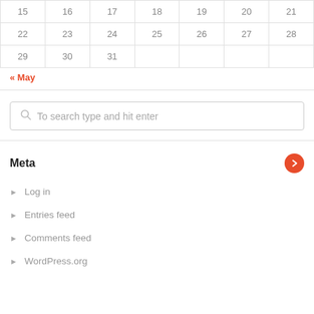| 15 | 16 | 17 | 18 | 19 | 20 | 21 |
| 22 | 23 | 24 | 25 | 26 | 27 | 28 |
| 29 | 30 | 31 |  |  |  |  |
« May
To search type and hit enter
Meta
Log in
Entries feed
Comments feed
WordPress.org